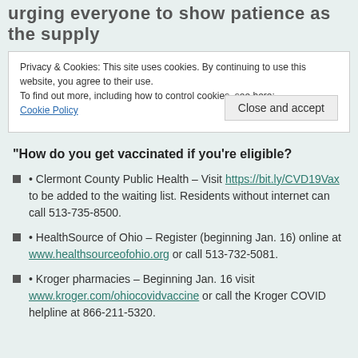urging everyone to show patience as the supply
Privacy & Cookies: This site uses cookies. By continuing to use this website, you agree to their use.
To find out more, including how to control cookies, see here:
Cookie Policy
Close and accept
"How do you get vaccinated if you're eligible?
• Clermont County Public Health – Visit https://bit.ly/CVD19Vax to be added to the waiting list. Residents without internet can call 513-735-8500.
• HealthSource of Ohio – Register (beginning Jan. 16) online at www.healthsourceofohio.org or call 513-732-5081.
• Kroger pharmacies – Beginning Jan. 16 visit www.kroger.com/ohiocovidvaccine or call the Kroger COVID helpline at 866-211-5320.